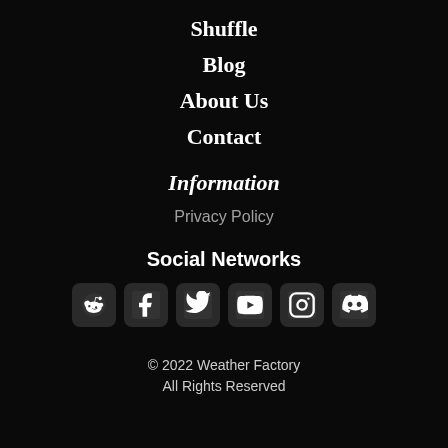Shuffle
Blog
About Us
Contact
Information
Privacy Policy
Social Networks
[Figure (infographic): Row of 6 social media icons: Reddit, Facebook, Twitter, YouTube, Instagram, Discord]
© 2022 Weather Factory
All Rights Reserved